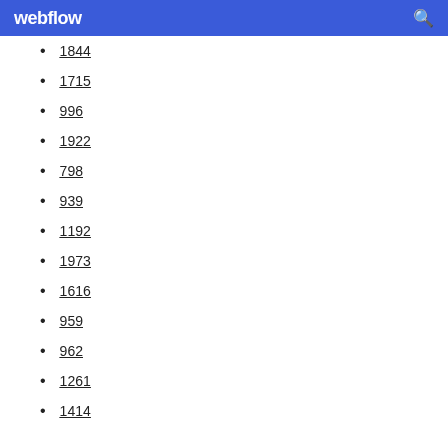webflow
1844
1715
996
1922
798
939
1192
1973
1616
959
962
1261
1414